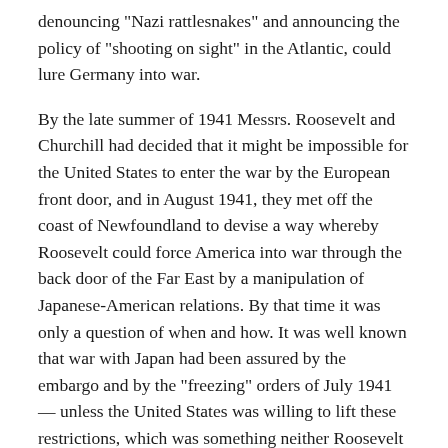denouncing "Nazi rattlesnakes" and announcing the policy of "shooting on sight" in the Atlantic, could lure Germany into war.
By the late summer of 1941 Messrs. Roosevelt and Churchill had decided that it might be impossible for the United States to enter the war by the European front door, and in August 1941, they met off the coast of Newfoundland to devise a way whereby Roosevelt could force America into war through the back door of the Far East by a manipulation of Japanese-American relations. By that time it was only a question of when and how. It was well known that war with Japan had been assured by the embargo and by the "freezing" orders of July 1941 — unless the United States was willing to lift these restrictions, which was something neither Roosevelt nor Hull ever remotely considered doing.
4 - How American Policy toward Japan Contributed to War in the Pacific
The fourth chapter, by Dr. Neumann, offers a broad survey of